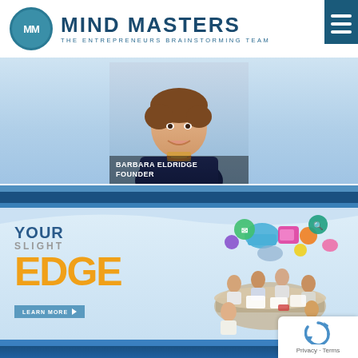MIND MASTERS – THE ENTREPRENEURS BRAINSTORMING TEAM
[Figure (photo): Portrait photo of Barbara Eldridge, Founder, a woman with short brown hair smiling, wearing a dark jacket with colorful scarf]
BARBARA ELDRIDGE
FOUNDER
[Figure (infographic): Your Slight Edge promotional banner with colorful app/cloud icons above a group of business people at a conference table, with YOUR SLIGHT EDGE text and LEARN MORE button]
Privacy - Terms